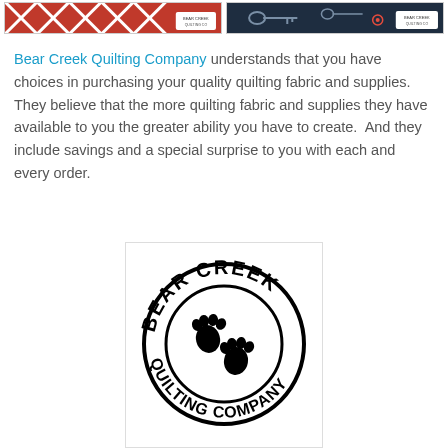[Figure (photo): Two fabric product thumbnail images side by side, left showing red and white quilting pattern with Bear Creek logo badge, right showing dark navy fabric with keys/locks pattern and Bear Creek logo badge]
Bear Creek Quilting Company understands that you have choices in purchasing your quality quilting fabric and supplies.  They believe that the more quilting fabric and supplies they have available to you the greater ability you have to create.  And they include savings and a special surprise to you with each and every order.
[Figure (logo): Bear Creek Quilting Company circular logo with bear paw prints in the center, 'BEAR CREEK' text arched on top and 'QUILTING COMPANY' text arched on bottom, black on white]